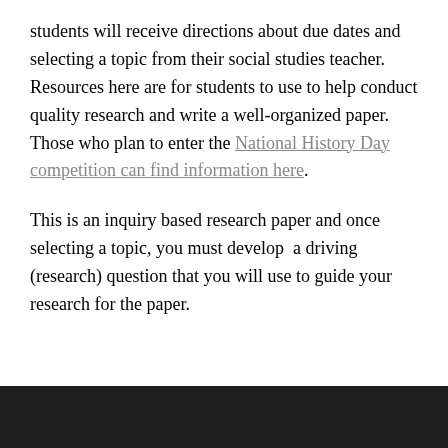students will receive directions about due dates and selecting a topic from their social studies teacher. Resources here are for students to use to help conduct quality research and write a well-organized paper. Those who plan to enter the National History Day competition can find information here.
This is an inquiry based research paper and once selecting a topic, you must develop  a driving (research) question that you will use to guide your research for the paper.